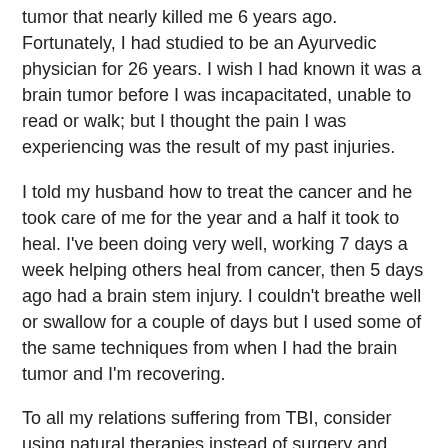tumor that nearly killed me 6 years ago. Fortunately, I had studied to be an Ayurvedic physician for 26 years. I wish I had known it was a brain tumor before I was incapacitated, unable to read or walk; but I thought the pain I was experiencing was the result of my past injuries.
I told my husband how to treat the cancer and he took care of me for the year and a half it took to heal. I've been doing very well, working 7 days a week helping others heal from cancer, then 5 days ago had a brain stem injury. I couldn't breathe well or swallow for a couple of days but I used some of the same techniques from when I had the brain tumor and I'm recovering.
To all my relations suffering from TBI, consider using natural therapies instead of surgery and harsh drugs.